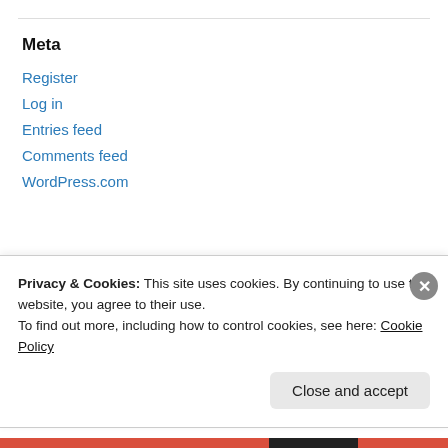Meta
Register
Log in
Entries feed
Comments feed
WordPress.com
Urban Beer Nerd Tag Cloud
Privacy & Cookies: This site uses cookies. By continuing to use this website, you agree to their use.
To find out more, including how to control cookies, see here: Cookie Policy
Close and accept